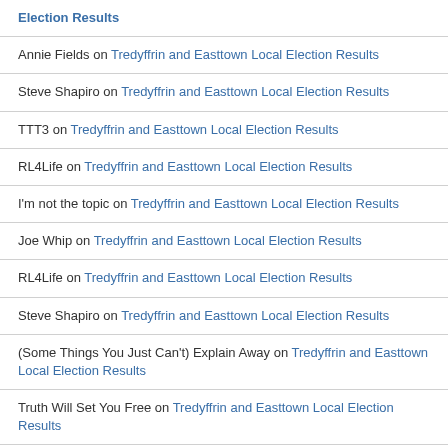Election Results
Annie Fields on Tredyffrin and Easttown Local Election Results
Steve Shapiro on Tredyffrin and Easttown Local Election Results
TTT3 on Tredyffrin and Easttown Local Election Results
RL4Life on Tredyffrin and Easttown Local Election Results
I'm not the topic on Tredyffrin and Easttown Local Election Results
Joe Whip on Tredyffrin and Easttown Local Election Results
RL4Life on Tredyffrin and Easttown Local Election Results
Steve Shapiro on Tredyffrin and Easttown Local Election Results
(Some Things You Just Can't) Explain Away on Tredyffrin and Easttown Local Election Results
Truth Will Set You Free on Tredyffrin and Easttown Local Election Results
Pattye on Tredyffrin and Easttown Local Election Results
Steve Shapiro on Tredyffrin and Easttown Local Election Results
Steve Shapiro on Tredyffrin and Easttown Local Election Results